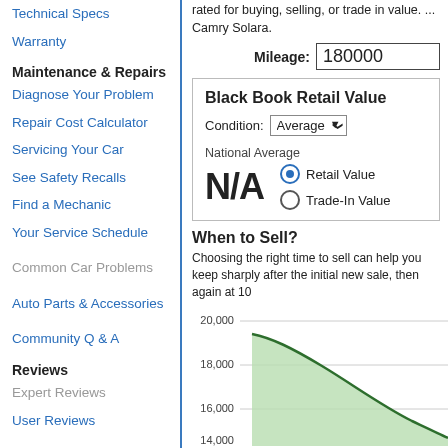rated for buying, selling, or trade-in value. ... Camry Solara.
Mileage: 180000
Black Book Retail Value
Condition: Average
National Average
N/A
Retail Value
Trade-In Value
When to Sell?
Choosing the right time to sell can help you keep... sharply after the initial new sale, then again at 10...
[Figure (area-chart): Area chart showing vehicle value depreciation over time, green shaded area with dark green line declining from approximately 19,000 to below 16,000. Y-axis shows values 16,000, 18,000, 20,000.]
Technical Specs
Warranty
Maintenance & Repairs
Diagnose Your Problem
Repair Cost Calculator
Servicing Your Car
See Safety Recalls
Find a Mechanic
Your Service Schedule
Common Car Problems
Auto Parts & Accessories
Community Q & A
Reviews
Expert Reviews
User Reviews